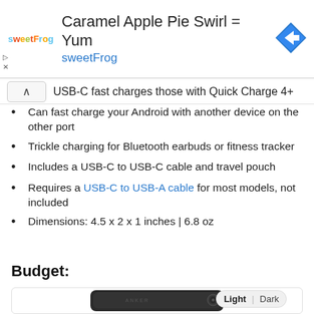[Figure (advertisement): sweetFrog ad banner with logo, text 'Caramel Apple Pie Swirl = Yum', 'sweetFrog' subtitle, and navigation arrow icon]
USB-C fast charges those with Quick Charge 4+
Can fast charge your Android with another device on the other port
Trickle charging for Bluetooth earbuds or fitness tracker
Includes a USB-C to USB-C cable and travel pouch
Requires a USB-C to USB-A cable for most models, not included
Dimensions: 4.5 x 2 x 1 inches | 6.8 oz
Budget:
[Figure (photo): Anker portable power bank charger device, black, partially visible at bottom of page]